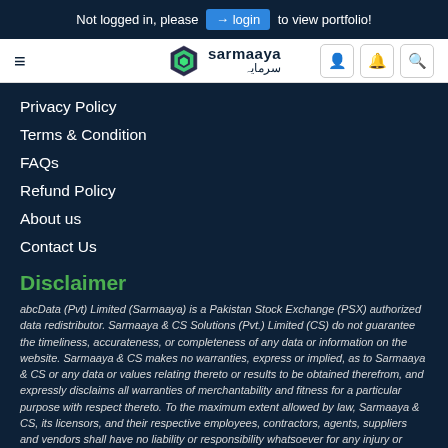Not logged in, please login to view portfolio!
[Figure (logo): Sarmaaya logo with hexagon icon and English/Urdu text]
Privacy Policy
Terms & Condition
FAQs
Refund Policy
About us
Contact Us
Disclaimer
abcData (Pvt) Limited (Sarmaaya) is a Pakistan Stock Exchange (PSX) authorized data redistributor. Sarmaaya & CS Solutions (Pvt.) Limited (CS) do not guarantee the timeliness, accurateness, or completeness of any data or information on the website. Sarmaaya & CS makes no warranties, express or implied, as to Sarmaaya & CS or any data or values relating thereto or results to be obtained therefrom, and expressly disclaims all warranties of merchantability and fitness for a particular purpose with respect thereto. To the maximum extent allowed by law, Sarmaaya & CS, its licensors, and their respective employees, contractors, agents, suppliers and vendors shall have no liability or responsibility whatsoever for any injury or damages – whether direct, indirect, consequential, incidental, punitive or otherwise – arising in connection with Sarmaaya & CS or any data or values relating thereto – whether arising from their negligence or otherwise. Nothing in the website shall